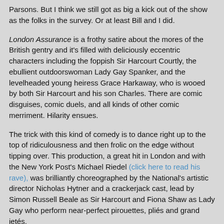Parsons. But I think we still got as big a kick out of the show as the folks in the survey.  Or at least Bill and I did.
London Assurance is a frothy satire about the mores of the British gentry and it's filled with deliciously eccentric characters including the foppish Sir Harcourt Courtly, the ebullient outdoorswoman Lady Gay Spanker, and the levelheaded young heiress Grace Harkaway, who is wooed by both Sir Harcourt and his son Charles. There are comic disguises, comic duels, and all kinds of other comic merriment.  Hilarity ensues.
The trick with this kind of comedy is to dance right up to the top of ridiculousness and then frolic on the edge without tipping over. This production, a great hit in London and with the New York Post's Michael Riedel (click here to read his rave), was brilliantly choreographed by the National's artistic director Nicholas Hytner and a crackerjack cast, lead by Simon Russell Beale as Sir Harcourt and Fiona Shaw as Lady Gay who perform near-perfect pirouettes, pliés and grand jetés.
Of course one of the things I most love about theater is its ephemeral, you-have-to-be-there quality.  But sometimes you just can't be there.  Which is why I'm so taken with these NT Live performances.  The great thing about them is that they aren't movies—you see the actual